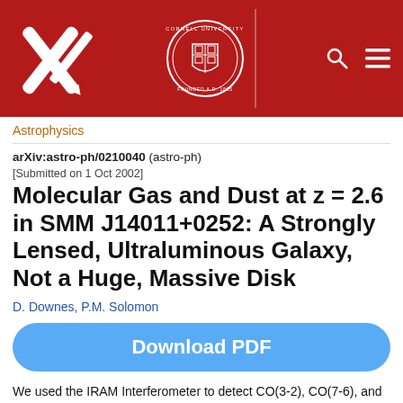[Figure (logo): arXiv logo (white X and pencil mark on red background) and Cornell University seal with search and menu icons on red header bar]
Astrophysics
arXiv:astro-ph/0210040 (astro-ph)
[Submitted on 1 Oct 2002]
Molecular Gas and Dust at z = 2.6 in SMM J14011+0252: A Strongly Lensed, Ultraluminous Galaxy, Not a Huge, Massive Disk
D. Downes, P.M. Solomon
Download PDF
We used the IRAM Interferometer to detect CO(3-2), CO(7-6), and 1.3 mm dust continuum emission from the submillimeter galaxy SMM J14011+0252 at a redshift of 2.6. Contrary to a recent claim that the CO was extended over 6.6 arcsec (57 kpc), the new data yield a size of 2 x 0.5 arcsec for the CO and the dust. Although previous results